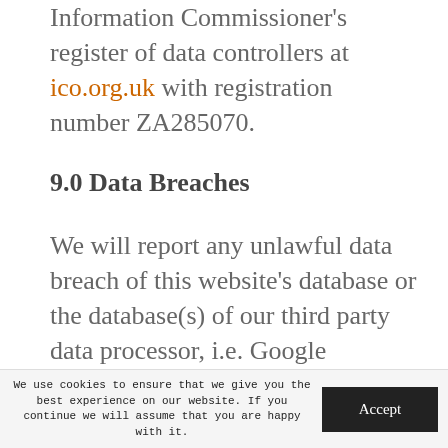Information Commissioner's register of data controllers at ico.org.uk with registration number ZA285070.
9.0 Data Breaches
We will report any unlawful data breach of this website's database or the database(s) of our third party data processor, i.e. Google Analytics, to any and all relevant persons and authorities within 72
We use cookies to ensure that we give you the best experience on our website. If you continue we will assume that you are happy with it.